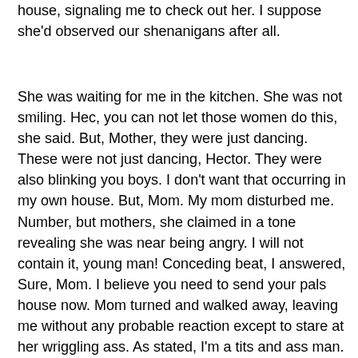house, signaling me to check out her. I suppose she'd observed our shenanigans after all.
She was waiting for me in the kitchen. She was not smiling. Hec, you can not let those women do this, she said. But, Mother, they were just dancing. These were not just dancing, Hector. They were also blinking you boys. I don't want that occurring in my own house. But, Mom. My mom disturbed me. Number, but mothers, she claimed in a tone revealing she was near being angry. I will not contain it, young man! Conceding beat, I answered, Sure, Mom. I believe you need to send your pals house now. Mom turned and walked away, leaving me without any probable reaction except to stare at her wriggling ass. As stated, I'm a tits and ass man. My Adult Cam Caht mother had both and my ecent discovery of Mom as an attractive person meant I usually respected her in a bikini. Just like she was planning to keep the area, she made suddenly, catching me dmiring her ass. Send them home today, Hector, she demanded.